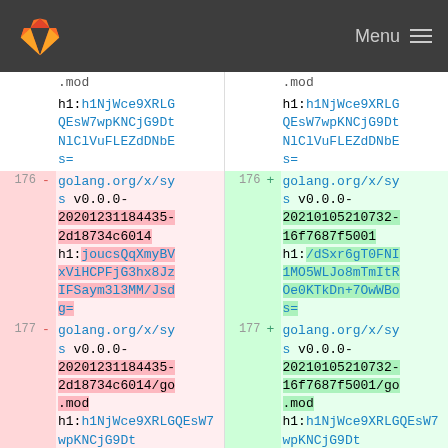GitLab Menu
.mod h1:h1NjWce9XRLGQEsW7wpKNCjG9DtNlClVuFLEZdDNbEs= (left side, neutral context)
.mod h1:h1NjWce9XRLGQEsW7wpKNCjG9DtNlClVuFLEZdDNbEs= (right side, neutral context)
176 - golang.org/x/sys v0.0.0-20201231184435-2d18734c6014 h1:joucsQqXmyBVxViHCPFjG3hx8JzIFSaym3l3MM/Jsdg=
176 + golang.org/x/sys v0.0.0-20210105210732-16f7687f5001 h1:/dSxr6gT0FNI1MO5WLJo8mTmItROe0KTkDn+7OwWBos=
177 - golang.org/x/sys v0.0.0-20201231184435-2d18734c6014/go.mod h1:h1NjWce9XRLGQEsW7wpKNCjG9Dt
177 + golang.org/x/sys v0.0.0-20210105210732-16f7687f5001/go.mod h1:h1NjWce9XRLGQEsW7wpKNCjG9Dt